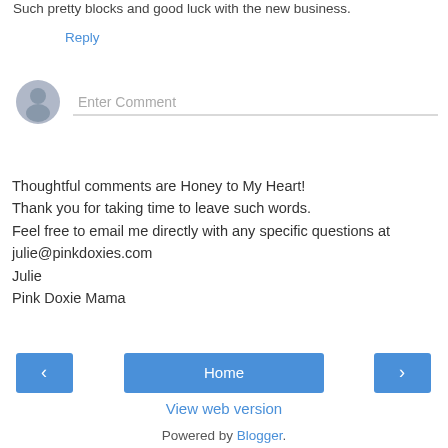Such pretty blocks and good luck with the new business.
Reply
[Figure (other): Comment input area with avatar placeholder and 'Enter Comment' text field]
Thoughtful comments are Honey to My Heart!
Thank you for taking time to leave such words.
Feel free to email me directly with any specific questions at julie@pinkdoxies.com
Julie
Pink Doxie Mama
[Figure (other): Navigation bar with left arrow button, Home button, and right arrow button]
View web version
Powered by Blogger.